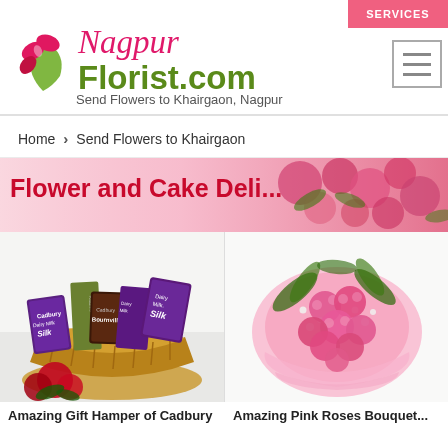[Figure (logo): NagpurFlorist.com logo with flower icon, pink cursive Nagpur text, and green bold Florist.com text]
Send Flowers to Khairgaon, Nagpur
SERVICES
Home > Send Flowers to Khairgaon
[Figure (photo): Banner image showing pink roses with text Flower and Cake Delivery to Khairgaon]
Flower and Cake Delivery to Khairgaon
[Figure (photo): Amazing Gift Hamper of Cadbury chocolates in a basket with red roses]
Amazing Gift Hamper of Cadbury
[Figure (photo): Amazing Pink Roses Bouquet wrapped in pink paper]
Amazing Pink Roses Bouquet...